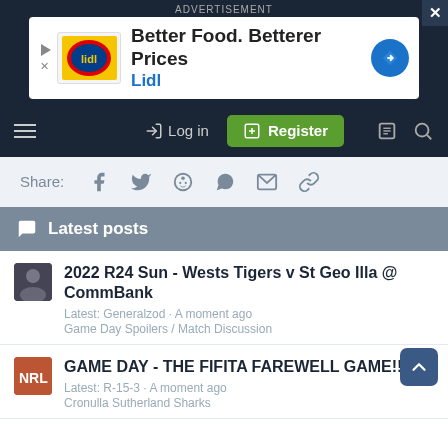[Figure (screenshot): Navigation bar with dark background, advertisement banner for Lidl (Better Food. Betterer Prices), hamburger menu, Log in button, Register button, and search icon]
Share:
Latest posts
2022 R24 Sun - Wests Tigers v St Geo Illa @ CommBank
Latest: Generalzod · A moment ago
Game Day Spoilers / Match Discussion
GAME DAY - THE FIFITA FAREWELL GAME!!!
Latest: R-15-3 · A moment ago
Cronulla Sutherland Sharks